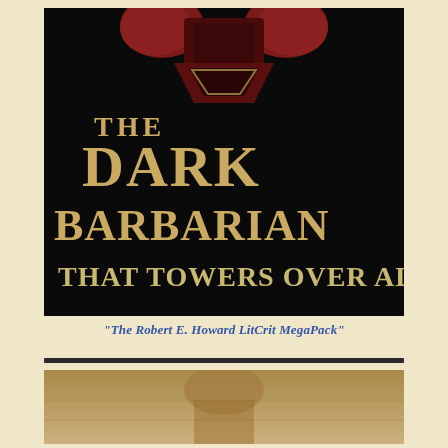[Figure (illustration): Book cover of 'The Dark Barbarian That Towers Over All' — black background with large gold serif text. At top, a dark figure wearing a horned helmet is partially visible. Title text reads 'THE DARK BARBARIAN THAT TOWERS OVER ALL' in large golden/tan letters.]
"The Robert E. Howard LitCrit MegaPack"
[Figure (illustration): Partial view of a second book cover image, sepia/tan toned illustration showing a warrior figure, cropped at the bottom of the page.]